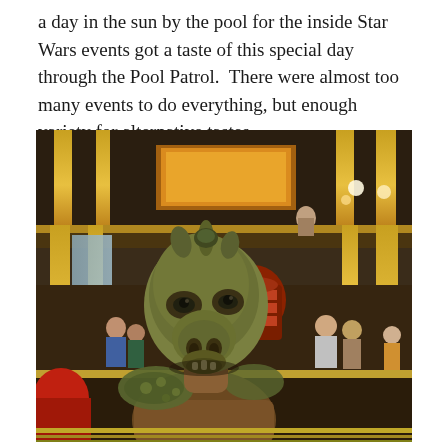a day in the sun by the pool for the inside Star Wars events got a taste of this special day through the Pool Patrol.  There were almost too many events to do everything, but enough variety for alternative tastes.
[Figure (photo): A Star Wars alien character (resembling a Gamorrean Guard or similar creature) in costume/mask standing in what appears to be the interior atrium of a cruise ship, with gold columns, balconies, and people visible in the background.]